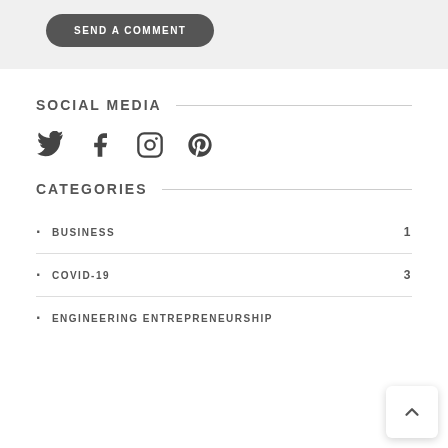[Figure (other): A dark rounded pill-shaped button labeled SEND A COMMENT on a light gray background]
SOCIAL MEDIA
[Figure (other): Four social media icons: Twitter bird, Facebook f, Instagram camera, Pinterest P — all in dark gray]
CATEGORIES
BUSINESS 1
COVID-19 3
ENGINEERING ENTREPRENEURSHIP